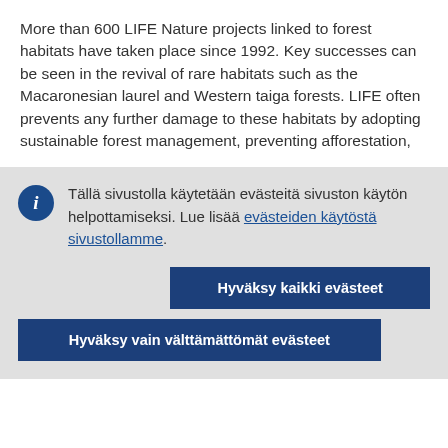More than 600 LIFE Nature projects linked to forest habitats have taken place since 1992. Key successes can be seen in the revival of rare habitats such as the Macaronesian laurel and Western taiga forests. LIFE often prevents any further damage to these habitats by adopting sustainable forest management, preventing afforestation,
Tällä sivustolla käytetään evästeitä sivuston käytön helpottamiseksi. Lue lisää evästeiden käytöstä sivustollamme.
Hyväksy kaikki evästeet
Hyväksy vain välttämättömät evästeet